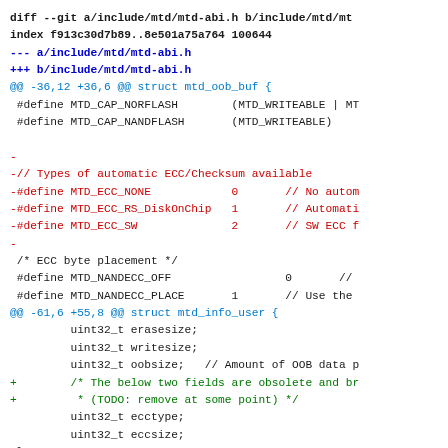diff --git a/include/mtd/mtd-abi.h b/include/mtd/mt
index f913c30d7b89..8e501a75a764 100644
--- a/include/mtd/mtd-abi.h
+++ b/include/mtd/mtd-abi.h
@@ -36,12 +36,6 @@ struct mtd_oob_buf {
 #define MTD_CAP_NORFLASH        (MTD_WRITEABLE | MT
 #define MTD_CAP_NANDFLASH       (MTD_WRITEABLE)

-
-// Types of automatic ECC/Checksum available
-#define MTD_ECC_NONE            0       // No autom
-#define MTD_ECC_RS_DiskOnChip   1       // Automati
-#define MTD_ECC_SW              2       // SW ECC f
-
 /* ECC byte placement */
 #define MTD_NANDECC_OFF                 0       //
 #define MTD_NANDECC_PLACE       1       // Use the
@@ -61,6 +55,8 @@ struct mtd_info_user {
         uint32_t erasesize;
         uint32_t writesize;
         uint32_t oobsize;   // Amount of OOB data p
+        /* The below two fields are obsolete and br
+         * (TODO: remove at some point) */
         uint32_t ecctype;
         uint32_t eccsize;
 };